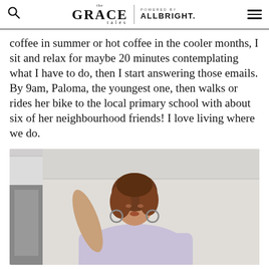the GRACE tales | POWERED BY ALLBRIGHT.
coffee in summer or hot coffee in the cooler months, I sit and relax for maybe 20 minutes contemplating what I have to do, then I start answering those emails. By 9am, Paloma, the youngest one, then walks or rides her bike to the local primary school with about six of her neighbourhood friends! I love living where we do.
[Figure (photo): A woman with curly auburn hair wearing a light lavender/lilac oversized shirt and large hoop earrings, posing with one arm raised in a white room.]